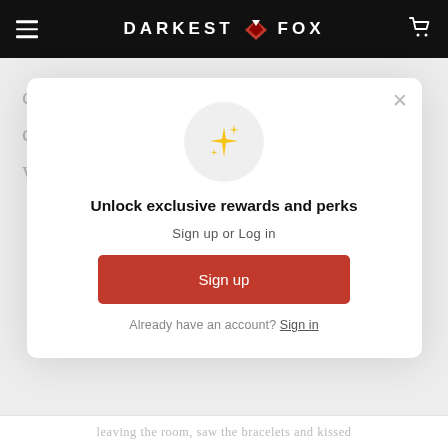DARKEST FOX
cabaret dancers of the 1920s: non-conformist, sensual and striking women...
[Figure (screenshot): Modal popup with sparkle emoji icon, heading 'Unlock exclusive rewards and perks', subheading 'Sign up or Log in', a red Sign up button, and a 'Already have an account? Sign in' link. Has an X close button in top right.]
leaving the room, saw the bracelets and kissed